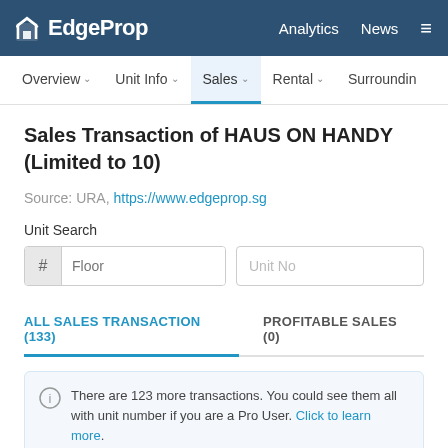EdgeProp | Analytics | News
Overview  Unit Info  Sales  Rental  Surroundin
Sales Transaction of HAUS ON HANDY (Limited to 10)
Source: URA, https://www.edgeprop.sg
Unit Search
Floor | Unit No
ALL SALES TRANSACTION (133)   PROFITABLE SALES (0)
There are 123 more transactions. You could see them all with unit number if you are a Pro User. Click to learn more.